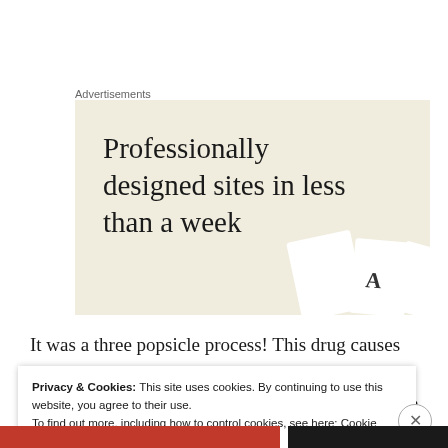Advertisements
[Figure (illustration): Advertisement banner with beige background showing text 'Professionally designed sites in less than a week' with decorative white card shapes in the bottom right corner.]
It was a three popsicle process! This drug causes mouth sores but if you eat or suck on something cold before during and after it keeps the sores from coming. The
Privacy & Cookies: This site uses cookies. By continuing to use this website, you agree to their use.
To find out more, including how to control cookies, see here: Cookie Policy
Close and accept